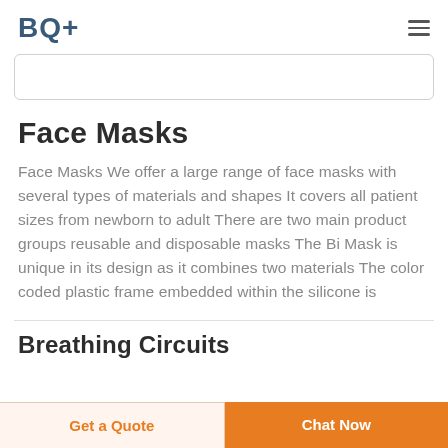BQ+
Face Masks
Face Masks We offer a large range of face masks with several types of materials and shapes It covers all patient sizes from newborn to adult There are two main product groups reusable and disposable masks The Bi Mask is unique in its design as it combines two materials The color coded plastic frame embedded within the silicone is
Breathing Circuits